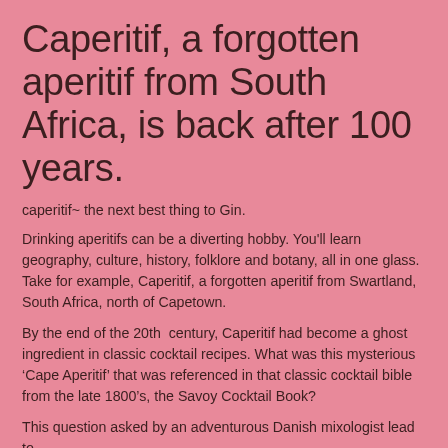Caperitif, a forgotten aperitif from South Africa, is back after 100 years.
caperitif~ the next best thing to Gin.
Drinking aperitifs can be a diverting hobby. You'll learn geography, culture, history, folklore and botany, all in one glass. Take for example, Caperitif, a forgotten aperitif from Swartland, South Africa, north of Capetown.
By the end of the 20th  century, Caperitif had become a ghost ingredient in classic cocktail recipes. What was this mysterious ‘Cape Aperitif’ that was referenced in that classic cocktail bible from the late 1800’s, the Savoy Cocktail Book?
This question asked by an adventurous Danish mixologist lead to